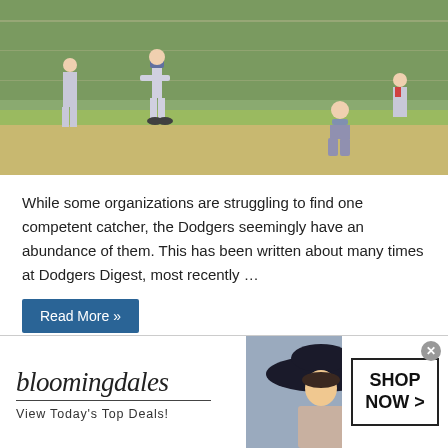[Figure (photo): Baseball scene showing players on a field — a pitcher, catcher crouching, and other players visible near a chain-link fence backdrop on a grass/dirt field.]
While some organizations are struggling to find one competent catcher, the Dodgers seemingly have an abundance of them. This has been written about many times at Dodgers Digest, most recently …
Read More »
2017 Dodgers In Review: C/3B Kyle Farmer
Sarah Wexler  11/17/2017  2017 Reviews, Kyle Farmer  55 Comments
[Figure (photo): Bloomingdales advertisement banner featuring the Bloomingdales logo, tagline 'View Today's Top Deals!', a woman model wearing a large black hat, and a 'SHOP NOW >' button.]